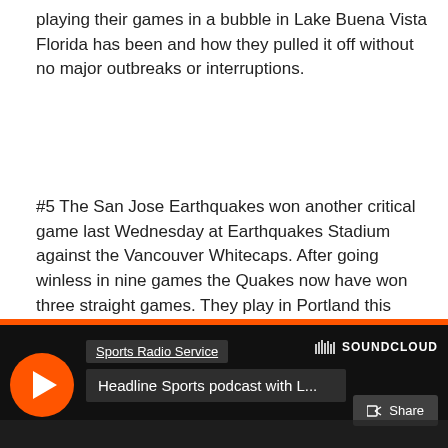playing their games in a bubble in Lake Buena Vista Florida has been and how they pulled it off without no major outbreaks or interruptions.
#5 The San Jose Earthquakes won another critical game last Wednesday at Earthquakes Stadium against the Vancouver Whitecaps. After going winless in nine games the Quakes now have won three straight games. They play in Portland this Sunday and a win could improve their record to 5-6-5 and are in tenth place in the Western Conference.
London does Headline Sports podcast each week at
http://www.sportsradioservice.com
[Figure (screenshot): SoundCloud embedded player showing 'Sports Radio Service' channel with 'Headline Sports podcast with L...' track, orange play button, Share button, and SoundCloud logo.]